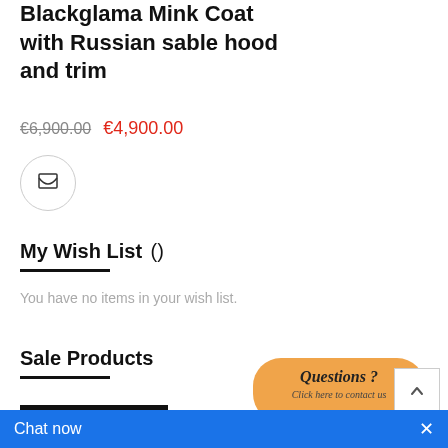Blackglama Mink Coat with Russian sable hood and trim
€6,900.00  €4,900.00
[Figure (other): Shopping cart button icon inside a circular border]
My Wish List ()
You have no items in your wish list.
Sale Products
[Figure (photo): Dark product photo of a silver item on black background]
Silver
[Figure (other): Orange speech bubble with text: Questions ? Click here to contact us]
[Figure (other): Back to top arrow button]
Chat now  ×